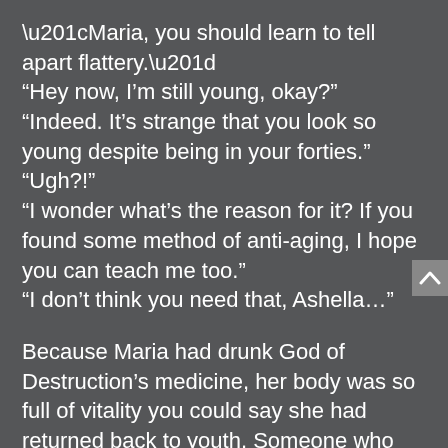“Maria, you should learn to tell apart flattery.”
“Hey now, I’m still young, okay?”
“Indeed. It’s strange that you look so young despite being in your forties.”
“Ugh?!”
“I wonder what’s the reason for it? If you found some method of anti-aging, I hope you can teach me too.”
“I don’t think you need that, Ashella…”

Because Maria had drunk God of Destruction’s medicine, her body was so full of vitality you could say she had returned back to youth. Someone who didn’t know that would naturally find it strange. But she couldn’t exactly tell that to the Pope.